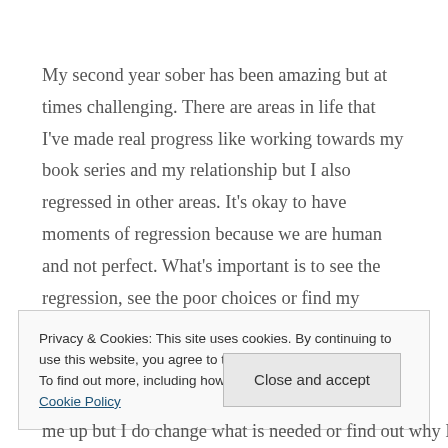My second year sober has been amazing but at times challenging. There are areas in life that I've made real progress like working towards my book series and my relationship but I also regressed in other areas. It's okay to have moments of regression because we are human and not perfect. What's important is to see the regression, see the poor choices or find my human errors and defects. It's important to take accountability and accept the consequences. These
Privacy & Cookies: This site uses cookies. By continuing to use this website, you agree to their use.
To find out more, including how to control cookies, see here: Cookie Policy
me up but I do change what is needed or find out why I